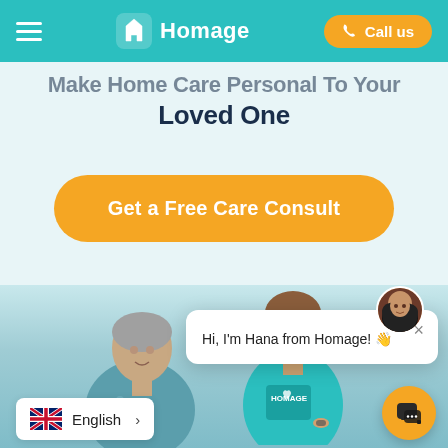Homage — Call us
Make Home Care Personal To Your Loved One
Get a Free Care Consult
[Figure (photo): Elderly woman and caregiver in Homage uniform posing together]
Hi, I'm Hana from Homage! 👋
English >